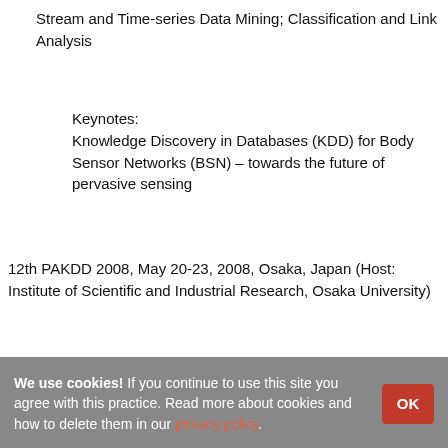Stream and Time-series Data Mining; Classification and Link Analysis
Keynotes:
Knowledge Discovery in Databases (KDD) for Body Sensor Networks (BSN) – towards the future of pervasive sensing
12th PAKDD 2008, May 20-23, 2008, Osaka, Japan (Host: Institute of Scientific and Industrial Research, Osaka University)
Pre-conference Workshops: (May 20)
Algorithms for Large-Scale Information Processing in
We use cookies! If you continue to use this site you agree with this practice. Read more about cookies and how to delete them in our privacy policy.